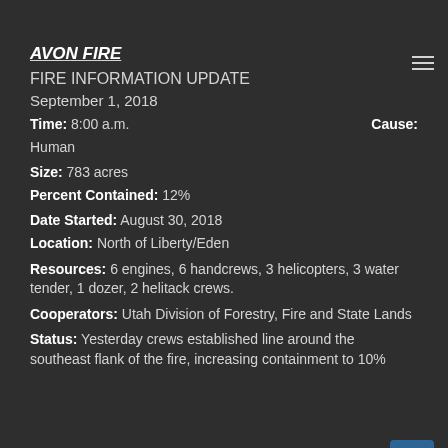AVON FIRE
FIRE INFORMATION UPDATE
September 1, 2018
Time: 8:00 a.m.    Cause: Human
Size: 783 acres
Percent Contained: 12%
Date Started: August 30, 2018
Location: North of Liberty/Eden
Resources: 6 engines, 6 handcrews, 3 helicopters, 3 water tender, 1 dozer, 2 helitack crews.
Cooperators: Utah Division of Forestry, Fire and State Lands
Status: Yesterday crews established line around the southeast flank of the fire, increasing containment to 10%.